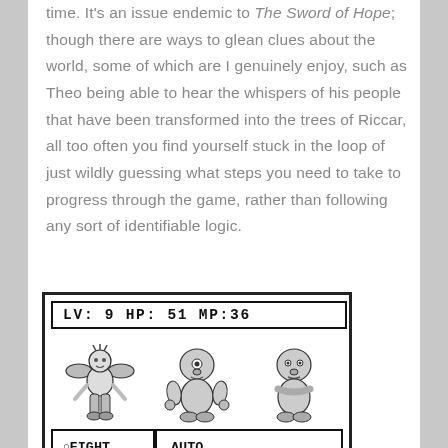time. It's an issue endemic to The Sword of Hope; though there are ways to glean clues about the world, some of which are I genuinely enjoy, such as Theo being able to hear the whispers of his people that have been transformed into the trees of Riccar, all too often you find yourself stuck in the loop of just wildly guessing what steps you need to take to progress through the game, rather than following any sort of identifiable logic.
[Figure (screenshot): Game Boy style battle screen showing LV: 9 HP: 51 MP:36 status bar, three enemy sprites (a winged humanoid and two ape-like creatures), and a menu with options FIGHT, AUTO, MAGIC, CYCLOPS, USE, APE1]